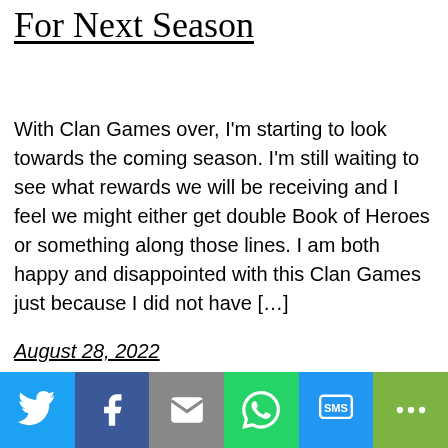For Next Season
With Clan Games over, I'm starting to look towards the coming season. I'm still waiting to see what rewards we will be receiving and I feel we might either get double Book of Heroes or something along those lines. I am both happy and disappointed with this Clan Games just because I did not have […]
August 28, 2022
[Figure (infographic): Social share bar with Twitter (blue), Facebook (dark blue), Email (grey), WhatsApp (green), SMS (blue), and More (green) buttons each showing their respective icons in white.]